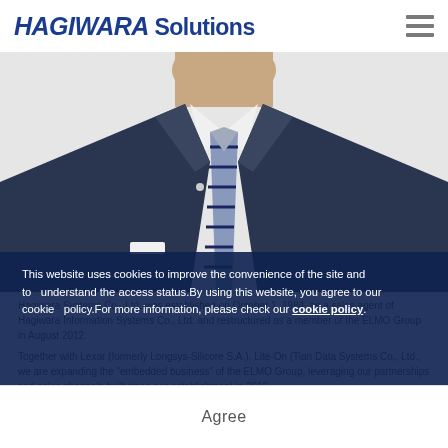HAGIWARA Solutions
[Figure (photo): Portrait photo of a Japanese businessman in a dark navy suit with a striped tie, cropped from chest up, white background]
This website uses cookies to improve the convenience of the site and to understand the access status.By using this website, you agree to our cookie policy.For more information, please check our cookie policy.
Agree